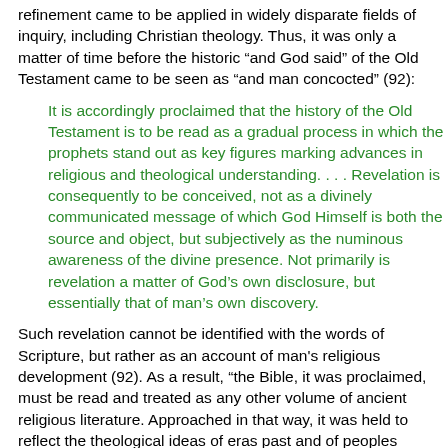refinement came to be applied in widely disparate fields of inquiry, including Christian theology. Thus, it was only a matter of time before the historic “and God said” of the Old Testament came to be seen as “and man concocted” (92):
It is accordingly proclaimed that the history of the Old Testament is to be read as a gradual process in which the prophets stand out as key figures marking advances in religious and theological understanding. . . . Revelation is consequently to be conceived, not as a divinely communicated message of which God Himself is both the source and object, but subjectively as the numinous awareness of the divine presence. Not primarily is revelation a matter of God’s own disclosure, but essentially that of man’s own discovery.
Such revelation cannot be identified with the words of Scripture, but rather as an account of man's religious development (92). As a result, “the Bible, it was proclaimed, must be read and treated as any other volume of ancient religious literature. Approached in that way, it was held to reflect the theological ideas of eras past and of peoples unsophisticated” (95). (It is within such an interpretive framework that a German by the name of Julius Wellhausen [1844-1918] developed his own form of source documentary